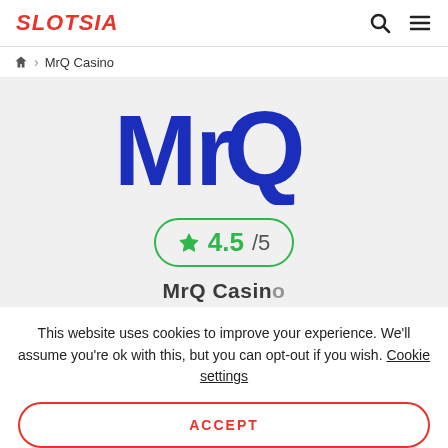SLOTSIA
🏠 > MrQ Casino
[Figure (logo): MrQ Casino logo — bold blue stylized text reading 'MrQ' in a playful font]
[Figure (other): Rating badge showing a green star icon and '4.5/5' rating in green text, inside a rounded green border]
MrQ Casino
This website uses cookies to improve your experience. We'll assume you're ok with this, but you can opt-out if you wish. Cookie settings
ACCEPT